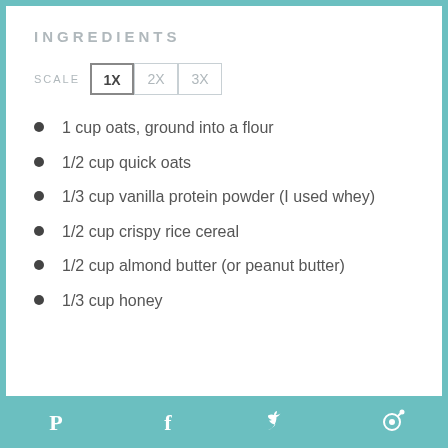INGREDIENTS
SCALE 1X 2X 3X
1 cup oats, ground into a flour
1/2 cup quick oats
1/3 cup vanilla protein powder (I used whey)
1/2 cup crispy rice cereal
1/2 cup almond butter (or peanut butter)
1/3 cup honey
Pinterest Facebook Twitter Other social